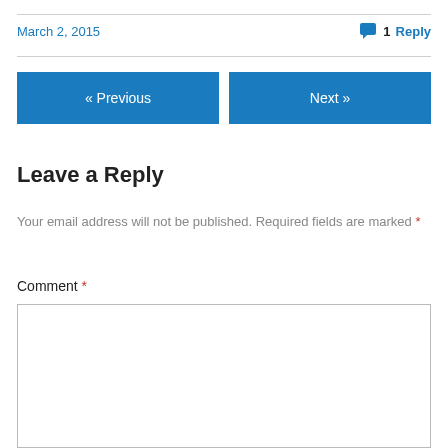March 2, 2015
1 Reply
« Previous
Next »
Leave a Reply
Your email address will not be published. Required fields are marked *
Comment *